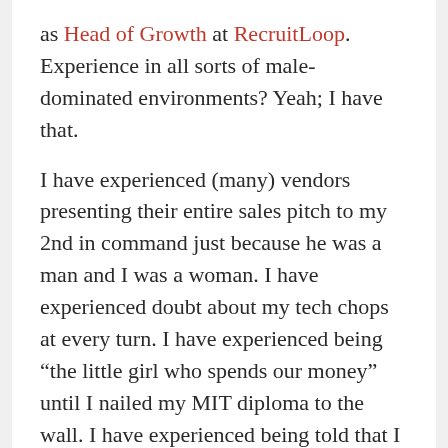as Head of Growth at RecruitLoop. Experience in all sorts of male-dominated environments? Yeah; I have that.
I have experienced (many) vendors presenting their entire sales pitch to my 2nd in command just because he was a man and I was a woman. I have experienced doubt about my tech chops at every turn. I have experienced being “the little girl who spends our money” until I nailed my MIT diploma to the wall. I have experienced being told that I was hired because I was pretty and had curly brown hair. If you name the gender cliche, I’ve